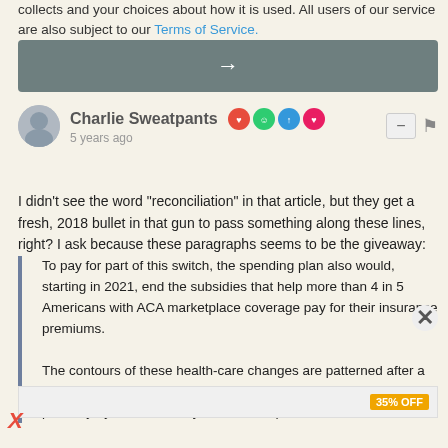collects and your choices about how it is used. All users of our service are also subject to our Terms of Service.
[Figure (other): Gray navigation arrow button bar]
Charlie Sweatpants  5 years ago
I didn't see the word "reconciliation" in that article, but they get a fresh, 2018 bullet in that gun to pass something along these lines, right? I ask because these paragraphs seems to be the giveaway:
To pay for part of this switch, the spending plan also would, starting in 2021, end the subsidies that help more than 4 in 5 Americans with ACA marketplace coverage pay for their insurance premiums.

The contours of these health-care changes are patterned after a Senate Republican proposal to repeal the ACA, sponsored primarily by Sens. Lindsey O. Graham (R.